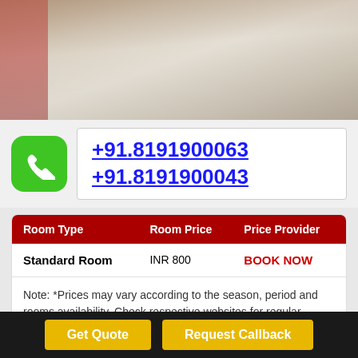[Figure (photo): Hotel lobby or corridor interior photo showing a long marble-floored hallway with seating area]
+91.8191900063
+91.8191900043
| Room Type | Room Price | Price Provider |
| --- | --- | --- |
| Standard Room | INR 800 | BOOK NOW |
Note: *Prices may vary according to the season, period and rooms availability. Check respective websites for regular updates and latest offers.
Get Quote   Request Callback